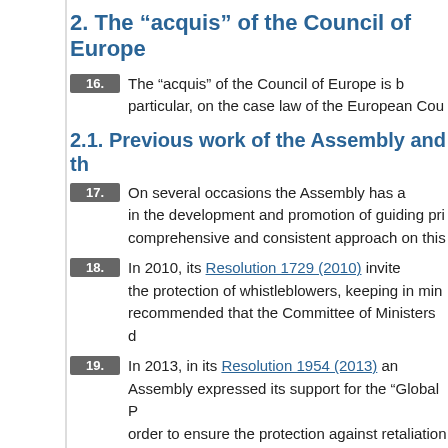2. The “acquis” of the Council of Europe
16. The “acquis” of the Council of Europe is b particular, on the case law of the European Cou
2.1. Previous work of the Assembly and th
17. On several occasions the Assembly has a in the development and promotion of guiding pri comprehensive and consistent approach on this
18. In 2010, its Resolution 1729 (2010) invite the protection of whistleblowers, keeping in min recommended that the Committee of Ministers d
19. In 2013, in its Resolution 1954 (2013) an Assembly expressed its support for the “Global P order to ensure the protection against retaliation is contrary to human rights and the public interes
20. In 2015 [NOTE] the Assembly welcomed th protection of whistleblowers, which “recommend